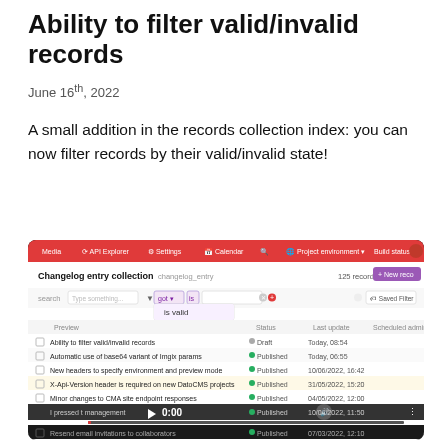Ability to filter valid/invalid records
June 16th, 2022
A small addition in the records collection index: you can now filter records by their valid/invalid state!
[Figure (screenshot): Screenshot of DatoCMS interface showing the Changelog entry collection with a filter dropdown displaying 'is valid' option, and a list of changelog entries with their status and last update dates. A video player overlay shows 0:00 timestamp.]